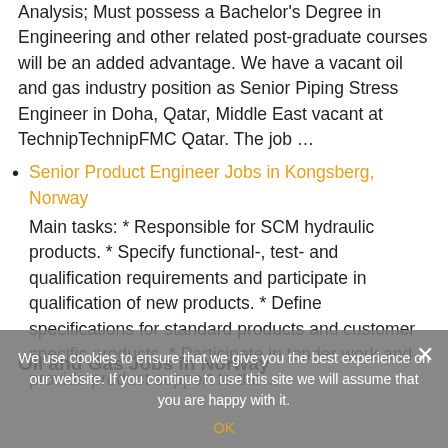Analysis; Must possess a Bachelor's Degree in Engineering and other related post-graduate courses will be an added advantage. We have a vacant oil and gas industry position as Senior Piping Stress Engineer in Doha, Qatar, Middle East vacant at TechnipTechnipFMC Qatar. The job …
Senior Product Engineer Jobs in Kongsberg, Norway
Main tasks: * Responsible for SCM hydraulic products. * Specify functional-, test- and qualification requirements and participate in qualification of new products. * Define specifications for standard products and customer specific products. * Participate in tender work and provide product support to the…
We use cookies to ensure that we give you the best experience on our website. If you continue to use this site we will assume that you are happy with it.
Oil and Gas Jobs in Norway